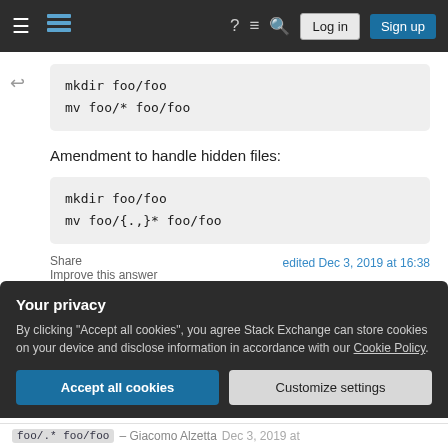Stack Exchange navigation bar with Log in and Sign up buttons
[Figure (screenshot): Code block showing: mkdir foo/foo
mv foo/* foo/foo]
Amendment to handle hidden files:
[Figure (screenshot): Code block showing: mkdir foo/foo
mv foo/{.,}* foo/foo]
Share    edited Dec 3, 2019 at 16:38
Improve this answer
Your privacy
By clicking "Accept all cookies", you agree Stack Exchange can store cookies on your device and disclose information in accordance with our Cookie Policy.
Accept all cookies   Customize settings
foo/.* foo/foo – Giacomo Alzetta Dec 3, 2019 at